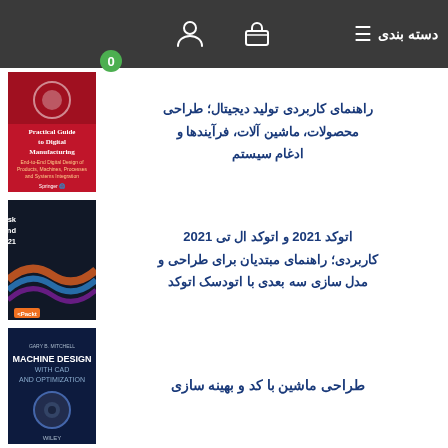دسته بندی
[Figure (illustration): Book cover: Practical Guide to Digital Manufacturing - Springer]
راهنمای کاربردی تولید دیجیتال؛ طراحی محصولات، ماشین آلات، فرآیندها و ادغام سیستم
[Figure (illustration): Book cover: Practical Autodesk AutoCAD 2021 and AutoCAD LT 2021 - Packt]
اتوکد 2021 و اتوکد ال تی 2021 کاربردی؛ راهنمای مبتدیان برای طراحی و مدل سازی سه بعدی با اتودسک اتوکد
[Figure (illustration): Book cover: Machine Design with CAD and Optimization - Wiley]
طراحی ماشین با کد و بهینه سازی